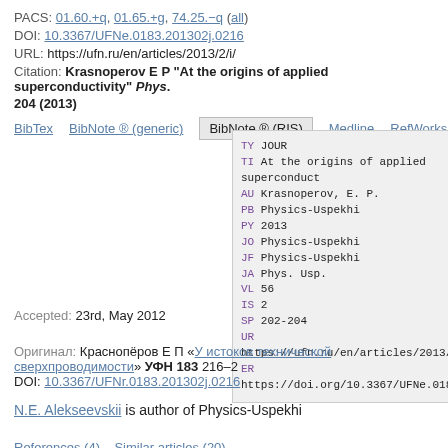PACS: 01.60.+q, 01.65.+g, 74.25.−q (all)
DOI: 10.3367/UFNe.0183.201302j.0216
URL: https://ufn.ru/en/articles/2013/2/i/
Citation: Krasnoperov E P "At the origins of applied superconductivity" Phys. Usp. 56 202–204 (2013)
BibTex  BibNote ® (generic)  BibNote ® (RIS)  Medline  RefWorks
TY JOUR
TI At the origins of applied superconduct...
AU Krasnoperov, E. P.
PB Physics-Uspekhi
PY 2013
JO Physics-Uspekhi
JF Physics-Uspekhi
JA Phys. Usp.
VL 56
IS 2
SP 202-204
UR https://ufn.ru/en/articles/2013/2/i/
ER https://doi.org/10.3367/UFNe.0183.2013...
Accepted: 23rd, May 2012
Оригинал: Краснопёров Е П «У истоков технической сверхпроводимости» УФН 183 216–2...
DOI: 10.3367/UFNr.0183.201302j.0216
N.E. Alekseevskii is author of Physics-Uspekhi
References (4)    Similar articles (20)